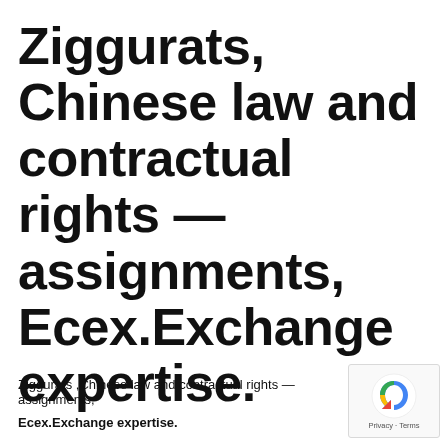Ziggurats, Chinese law and contractual rights — assignments, Ecex.Exchange expertise.
Ziggurats ,Chinese law and contractual rights — assignments,
Ecex.Exchange expertise.